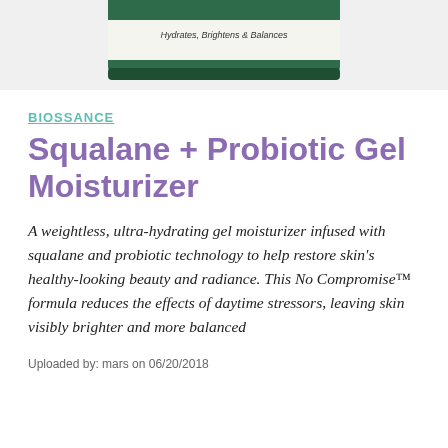[Figure (photo): Bottom portion of a green jar/container of Biossance Squalane + Probiotic Gel Moisturizer product, showing the lid and part of the label text 'Hydrates, Brightens & Balances']
BIOSSANCE
Squalane + Probiotic Gel Moisturizer
A weightless, ultra-hydrating gel moisturizer infused with squalane and probiotic technology to help restore skin's healthy-looking beauty and radiance. This No Compromise™ formula reduces the effects of daytime stressors, leaving skin visibly brighter and more balanced
Uploaded by: mars on 06/20/2018